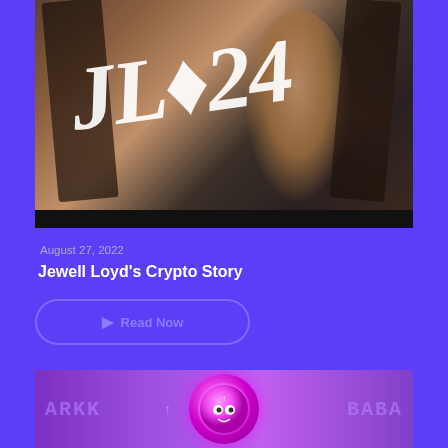[Figure (photo): Photo of a young woman smiling with braided hair; white handwritten-style text overlay reading a stylized signature with '24']
August 27, 2022
Jewell Loyd's Crypto Story
Read Now
[Figure (photo): Banner image with purple background showing ARKK and BABA ticker text on the sides, and a pink cartoon coin character in the center with an upward arrow]